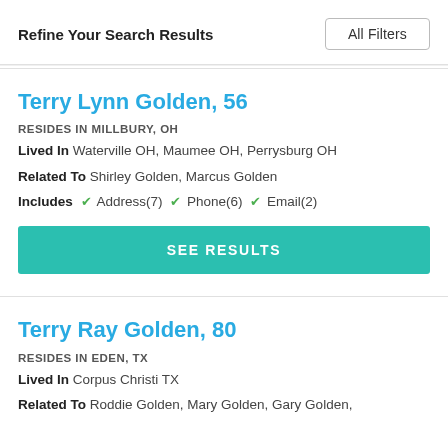Refine Your Search Results
All Filters
Terry Lynn Golden, 56
RESIDES IN MILLBURY, OH
Lived In Waterville OH, Maumee OH, Perrysburg OH
Related To Shirley Golden, Marcus Golden
Includes ✓ Address(7) ✓ Phone(6) ✓ Email(2)
SEE RESULTS
Terry Ray Golden, 80
RESIDES IN EDEN, TX
Lived In Corpus Christi TX
Related To Roddie Golden, Mary Golden, Gary Golden,